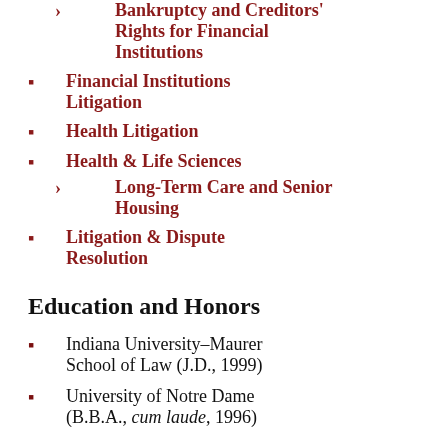Bankruptcy and Creditors' Rights for Financial Institutions
Financial Institutions Litigation
Health Litigation
Health & Life Sciences
Long-Term Care and Senior Housing
Litigation & Dispute Resolution
Education and Honors
Indiana University–Maurer School of Law (J.D., 1999)
University of Notre Dame (B.B.A., cum laude, 1996)